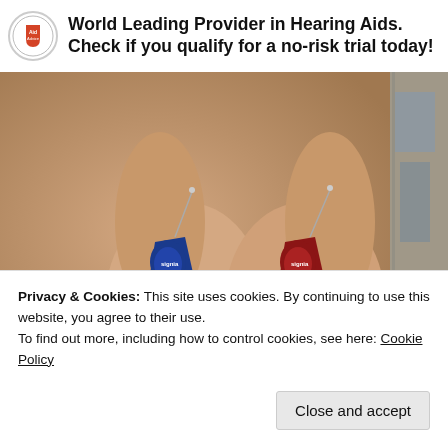World Leading Provider in Hearing Aids. Check if you qualify for a no-risk trial today!
[Figure (photo): Two small Signia hearing aids (one blue, one red) held between fingers, shown up close against a blurred background. A partial second photo of a corridor/doorway is visible on the right edge.]
Privacy & Cookies: This site uses cookies. By continuing to use this website, you agree to their use.
To find out more, including how to control cookies, see here: Cookie Policy
Close and accept